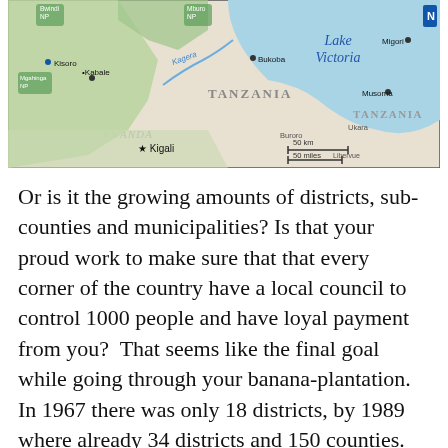[Figure (map): Map showing the region around Lake Victoria, including parts of Tanzania, Rwanda, and Uganda. Shows locations including Kisoro, Kabale, Kigali, Bukoba, Musoma, Migori, and national parks. Scale bar shows 50 km / 50 miles.]
Or is it the growing amounts of districts, sub-counties and municipalities? Is that your proud work to make sure that that every corner of the country have a local council to control 1000 people and have loyal payment from you?  That seems like the final goal while going through your banana-plantation. In 1967 there was only 18 districts, by 1989 where already 34 districts and 150 counties. By my reckoning in late 2015 there are 111 districts and 167 counties. So the numbers has grown